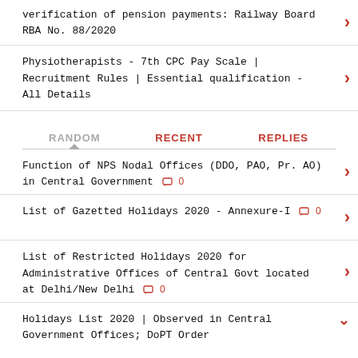verification of pension payments: Railway Board RBA No. 88/2020
Physiotherapists - 7th CPC Pay Scale | Recruitment Rules | Essential qualification - All Details
RANDOM   RECENT   REPLIES
Function of NPS Nodal Offices (DDO, PAO, Pr. AO) in Central Government 0
List of Gazetted Holidays 2020 - Annexure-I 0
List of Restricted Holidays 2020 for Administrative Offices of Central Govt located at Delhi/New Delhi 0
Holidays List 2020 | Observed in Central Government Offices; DoPT Order